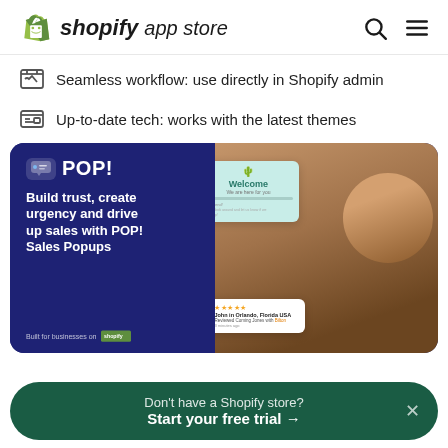shopify app store
Seamless workflow: use directly in Shopify admin
Up-to-date tech: works with the latest themes
[Figure (screenshot): POP! Sales Popups promotional banner on Shopify App Store. Dark blue background with POP! logo, tagline 'Build trust, create urgency and drive up sales with POP! Sales Popups', a Welcome popup card, a review card showing 5 stars from John in Orlando Florida USA, and a man working at a laptop.]
Don't have a Shopify store? Start your free trial →